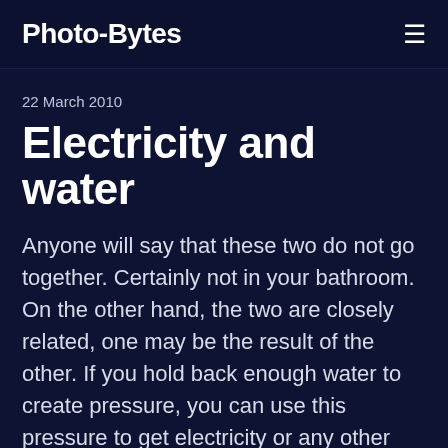Photo-Bytes
22 March 2010
Electricity and water
Anyone will say that these two do not go together. Certainly not in your bathroom. On the other hand, the two are closely related, one may be the result of the other. If you hold back enough water to create pressure, you can use this pressure to get electricity or any other kind of energy. Our ancestors knew this already for a long time. As "general" public there is